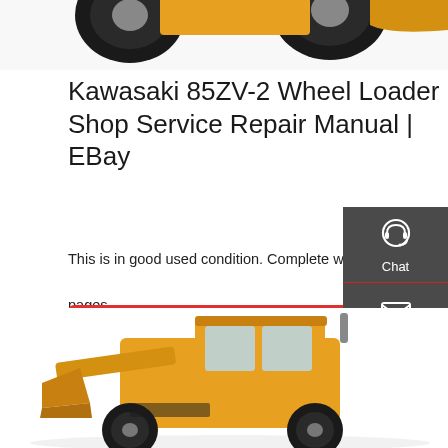[Figure (photo): Top portion of a Kawasaki 85ZV-2 wheel loader, showing the front bucket and upper cab area, partially cropped at the top of the page]
Kawasaki 85ZV-2 Wheel Loader Shop Service Repair Manual | EBay
This is in good used condition. Complete with no missing pages.
[Figure (other): Red 'Get a quote' button]
[Figure (other): Sidebar with Chat, Email, and Contact icons on dark background]
[Figure (photo): Bottom portion of a Kawasaki wheel loader (yellow/orange construction machine) with cab and front bucket visible]